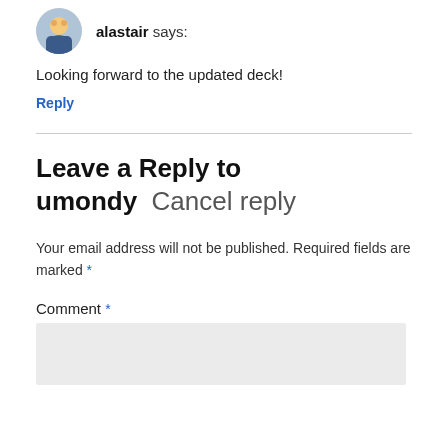[Figure (photo): Avatar icon of user 'alastair' — a cartoon character in a circular frame]
alastair says:
Looking forward to the updated deck!
Reply
Leave a Reply to umondy Cancel reply
Your email address will not be published. Required fields are marked *
Comment *